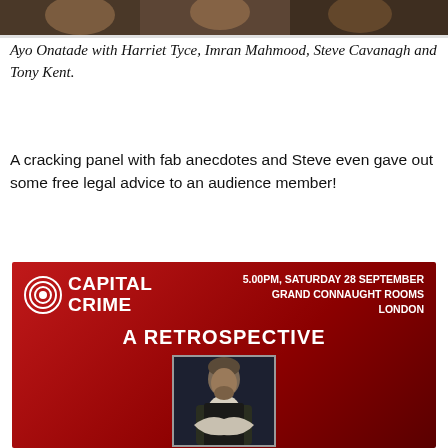[Figure (photo): Partial photo of people at an event, cropped at top of page]
Ayo Onatade with Harriet Tyce, Imran Mahmood, Steve Cavanagh and Tony Kent.
A cracking panel with fab anecdotes and Steve even gave out some free legal advice to an audience member!
[Figure (infographic): Capital Crime red banner event advertisement. 5.00PM, SATURDAY 28 SEPTEMBER, GRAND CONNAUGHT ROOMS, LONDON. A RETROSPECTIVE. Photo of John Connolly. JOHN CONNOLLY.]